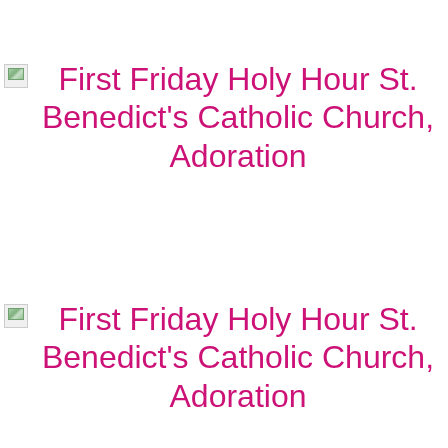[Figure (other): Broken image placeholder (small thumbnail icon)]
First Friday Holy Hour St. Benedict's Catholic Church, Adoration
[Figure (other): Broken image placeholder (small thumbnail icon)]
First Friday Holy Hour St. Benedict's Catholic Church, Adoration